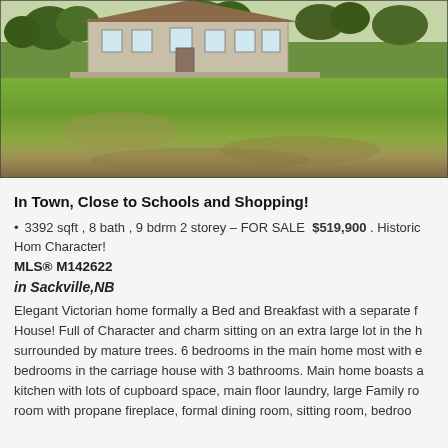[Figure (photo): Exterior photo of a historic Victorian home with large green lawn and mature trees in Sackville, NB]
In Town, Close to Schools and Shopping!
3392 sqft , 8 bath , 9 bdrm 2 storey – FOR SALE  $519,900 . Historic Home with Character!
MLS® M142622
in Sackville,NB
Elegant Victorian home formally a Bed and Breakfast with a separate House! Full of Character and charm sitting on an extra large lot in the h surrounded by mature trees. 6 bedrooms in the main home most with e bedrooms in the carriage house with 3 bathrooms. Main home boasts a kitchen with lots of cupboard space, main floor laundry, large Family ro room with propane fireplace, formal dining room, sitting room, bedroo